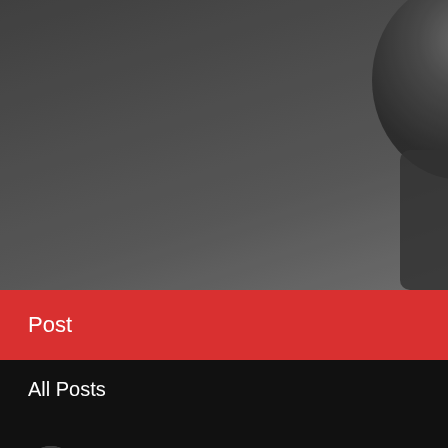[Figure (photo): Black and white photo of a person (silhouette/figure) in athletic wear, background is a blurred indoor environment. Hamburger menu icon visible in top right.]
Post
All Posts
Malik Scott | Performance Coach, YES, CPT, CPI
Jun 10, 2021 · 3 min
5 EXERCISES AND STRETCHES EXPECTING